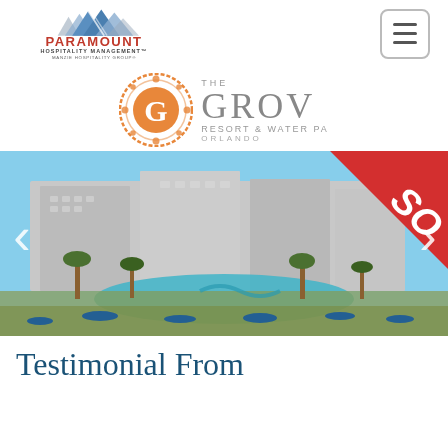[Figure (logo): Paramount Hospitality Management / Manzie Hospitality Group logo with mountain-peak graphic in blue and grey, bold red text 'PARAMOUNT' and subtitle 'HOSPITALITY MANAGEMENT' and 'MANZIE HOSPITALITY GROUP']
[Figure (logo): Hamburger menu button icon — three horizontal lines in a rounded rectangle border]
[Figure (logo): The Grove Resort & Water Park Orlando logo — orange ornate 'G' medallion with text 'THE GROV RESORT & WATER PA ORLANDO']
[Figure (photo): Aerial photo of The Grove Resort & Water Park Orlando showing large multi-story resort buildings, pool area with tropical landscaping, palm trees, and blue umbrellas. Red diagonal 'SO' (SOLD) banner in upper right corner. Left and right navigation arrows overlaid on photo.]
Testimonial From